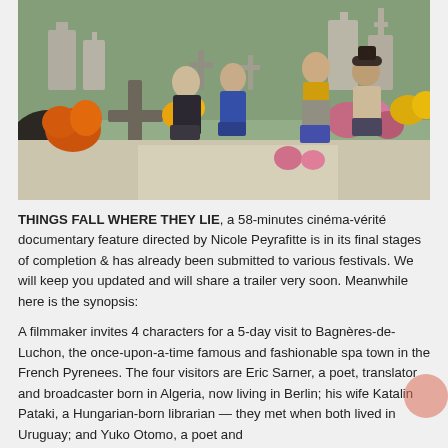[Figure (photo): A group of four people sitting among gravestones and colorful flowers in a sunny cemetery. Three people seated on tomb stones on the left, one person in a dark jacket, one in a blue jacket, and two more on the right including a person with a yellow scarf and one in a hat and beige shirt. Bright chrysanthemums in orange, yellow, pink visible throughout.]
THINGS FALL WHERE THEY LIE, a 58-minutes cinéma-vérité documentary feature directed by Nicole Peyrafitte is in its final stages of completion & has already been submitted to various festivals. We will keep you updated and will share a trailer very soon. Meanwhile here is the synopsis:

A filmmaker invites 4 characters for a 5-day visit to Bagnères-de-Luchon, the once-upon-a-time famous and fashionable spa town in the French Pyrenees. The four visitors are Eric Sarner, a poet, translator and broadcaster born in Algeria, now living in Berlin; his wife Katalin Pataki, a Hungarian-born librarian — they met when both lived in Uruguay; and Yuko Otomo, a poet and